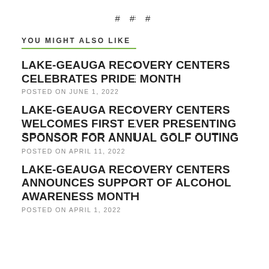# # #
YOU MIGHT ALSO LIKE
LAKE-GEAUGA RECOVERY CENTERS CELEBRATES PRIDE MONTH
POSTED ON JUNE 1, 2022
LAKE-GEAUGA RECOVERY CENTERS WELCOMES FIRST EVER PRESENTING SPONSOR FOR ANNUAL GOLF OUTING
POSTED ON APRIL 11, 2022
LAKE-GEAUGA RECOVERY CENTERS ANNOUNCES SUPPORT OF ALCOHOL AWARENESS MONTH
POSTED ON APRIL 1, 2022